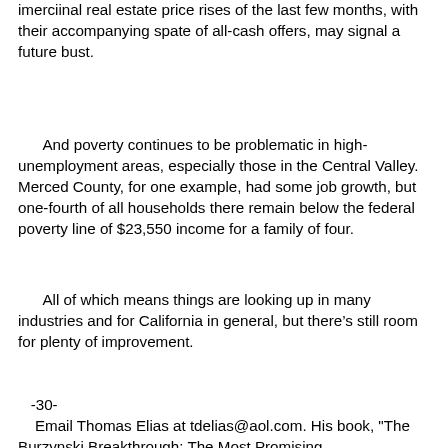imerciinal real estate price rises of the last few months, with their accompanying spate of all-cash offers, may signal a future bust.
And poverty continues to be problematic in high-unemployment areas, especially those in the Central Valley. Merced County, for one example, had some job growth, but one-fourth of all households there remain below the federal poverty line of $23,550 income for a family of four.
All of which means things are looking up in many industries and for California in general, but there’s still room for plenty of improvement.
-30-
    Email Thomas Elias at tdelias@aol.com. His book, "The Burzynski Breakthrough: The Most Promising